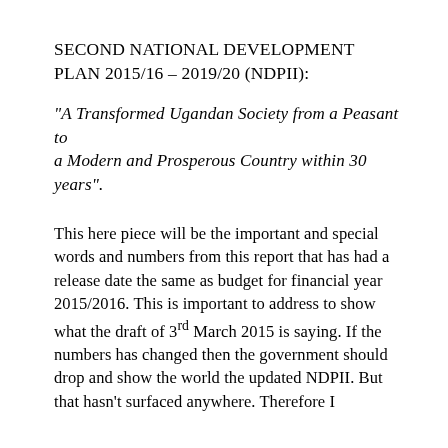SECOND NATIONAL DEVELOPMENT PLAN 2015/16 – 2019/20 (NDPII):
“A Transformed Ugandan Society from a Peasant to a Modern and Prosperous Country within 30 years”.
This here piece will be the important and special words and numbers from this report that has had a release date the same as budget for financial year 2015/2016. This is important to address to show what the draft of 3rd March 2015 is saying. If the numbers has changed then the government should drop and show the world the updated NDPII. But that hasn’t surfaced anywhere. Therefore I